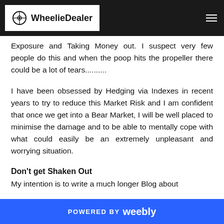WheelieDealer
Exposure and Taking Money out. I suspect very few people do this and when the poop hits the propeller there could be a lot of tears..........
I have been obsessed by Hedging via Indexes in recent years to try to reduce this Market Risk and I am confident that once we get into a Bear Market, I will be well placed to minimise the damage and to be able to mentally cope with what could easily be an extremely unpleasant and worrying situation.
Don't get Shaken Out
My intention is to write a much longer Blog about
POWERED BY weebly